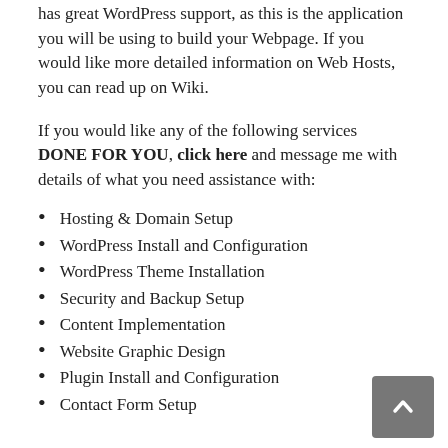has great WordPress support, as this is the application you will be using to build your Webpage. If you would like more detailed information on Web Hosts, you can read up on Wiki.
If you would like any of the following services DONE FOR YOU, click here and message me with details of what you need assistance with:
Hosting & Domain Setup
WordPress Install and Configuration
WordPress Theme Installation
Security and Backup Setup
Content Implementation
Website Graphic Design
Plugin Install and Configuration
Contact Form Setup